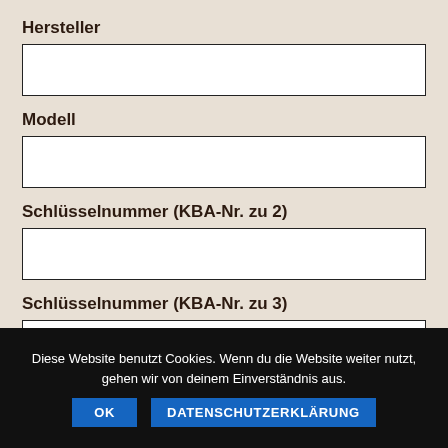Hersteller
Modell
Schlüsselnummer (KBA-Nr. zu 2)
Schlüsselnummer (KBA-Nr. zu 3)
Diese Website benutzt Cookies. Wenn du die Website weiter nutzt, gehen wir von deinem Einverständnis aus.